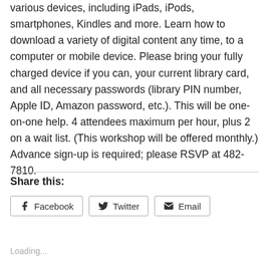various devices, including iPads, iPods, smartphones, Kindles and more. Learn how to download a variety of digital content any time, to a computer or mobile device. Please bring your fully charged device if you can, your current library card, and all necessary passwords (library PIN number, Apple ID, Amazon password, etc.). This will be one-on-one help. 4 attendees maximum per hour, plus 2 on a wait list. (This workshop will be offered monthly.) Advance sign-up is required; please RSVP at 482-7810.
Share this:
Facebook
Twitter
Email
Loading...